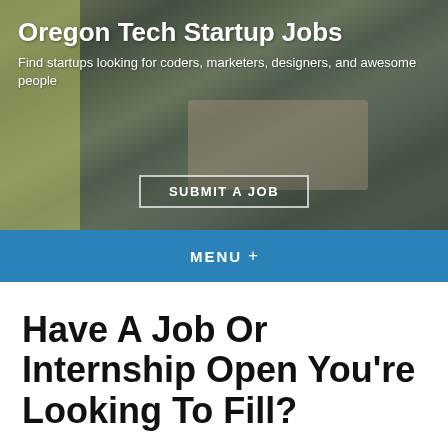[Figure (photo): Hero banner showing a tech office/startup workspace with people at a table in the background. Overlaid text says Oregon Tech Startup Jobs and a subtitle, plus a Submit a Job button.]
Oregon Tech Startup Jobs
Find startups looking for coders, marketers, designers, and awesome people
SUBMIT A JOB
MENU +
Have A Job Or Internship Open You're Looking To Fill?
If you're an Oregon technology company or startup and have a job or internship you're looking to fill in those hard to find, but valuable, roles in your company like…